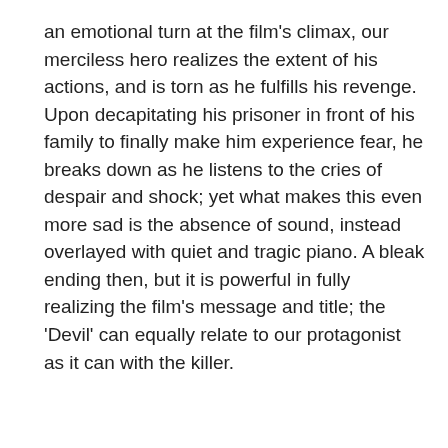an emotional turn at the film's climax, our merciless hero realizes the extent of his actions, and is torn as he fulfills his revenge. Upon decapitating his prisoner in front of his family to finally make him experience fear, he breaks down as he listens to the cries of despair and shock; yet what makes this even more sad is the absence of sound, instead overlayed with quiet and tragic piano. A bleak ending then, but it is powerful in fully realizing the film's message and title; the 'Devil' can equally relate to our protagonist as it can with the killer.